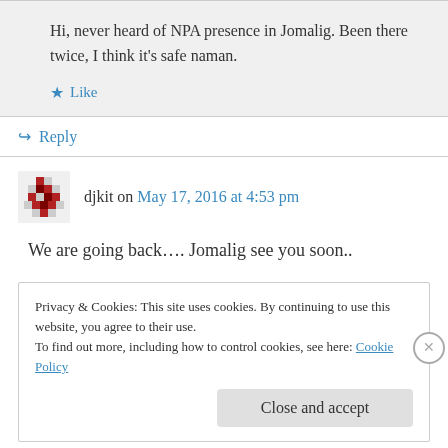Hi, never heard of NPA presence in Jomalig. Been there twice, I think it's safe naman.
★ Like
↳ Reply
djkit on May 17, 2016 at 4:53 pm
We are going back…. Jomalig see you soon..
Privacy & Cookies: This site uses cookies. By continuing to use this website, you agree to their use.
To find out more, including how to control cookies, see here: Cookie Policy
Close and accept